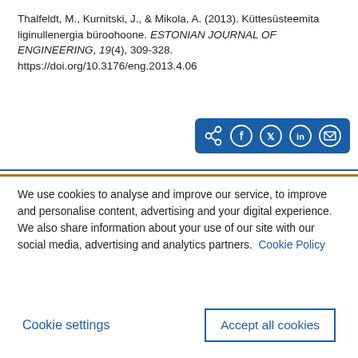Thalfeldt, M., Kurnitski, J., & Mikola, A. (2013). Küttesüsteemita liginullenergia büroohoone. ESTONIAN JOURNAL OF ENGINEERING, 19(4), 309-328. https://doi.org/10.3176/eng.2013.4.06
[Figure (other): Share buttons bar with blue background: share icon, Facebook, Twitter, LinkedIn, and email icons as white circles with outlines]
We use cookies to analyse and improve our service, to improve and personalise content, advertising and your digital experience. We also share information about your use of our site with our social media, advertising and analytics partners.  Cookie Policy
Cookie settings
Accept all cookies